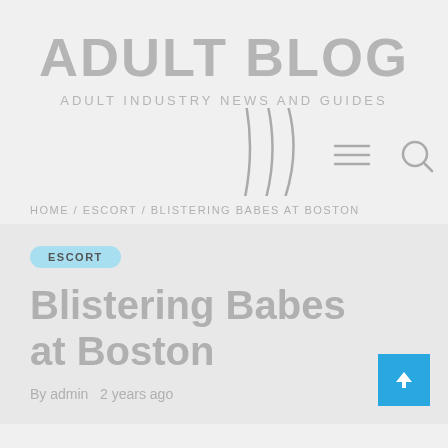ADULT BLOG
ADULT INDUSTRY NEWS AND GUIDES
[Figure (other): Navigation arc decoration with hamburger menu icon and search icon]
HOME / ESCORT / BLISTERING BABES AT BOSTON
ESCORT
Blistering Babes at Boston
By admin  2 years ago